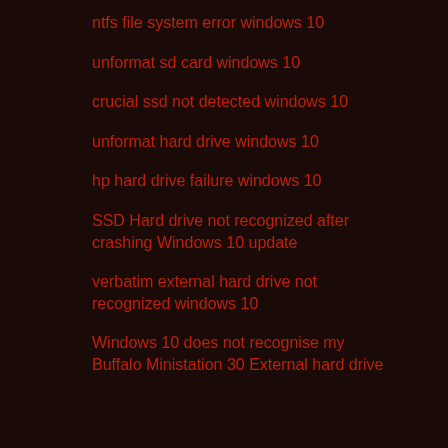ntfs file system error windows 10
unformat sd card windows 10
crucial ssd not detected windows 10
unformat hard drive windows 10
hp hard drive failure windows 10
SSD Hard drive not recognized after crashing Windows 10 update
verbatim external hard drive not recognized windows 10
Windows 10 does not recognise my Buffalo Ministation 30 External hard drive